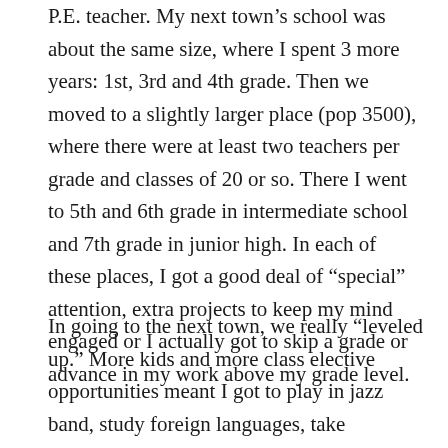P.E. teacher. My next town’s school was about the same size, where I spent 3 more years: 1st, 3rd and 4th grade. Then we moved to a slightly larger place (pop 3500), where there were at least two teachers per grade and classes of 20 or so. There I went to 5th and 6th grade in intermediate school and 7th grade in junior high. In each of these places, I got a good deal of “special” attention, extra projects to keep my mind engaged or I actually got to skip a grade or advance in my work above my grade level.
In going to the next town, we really “leveled up.” More kids and more class elective opportunities meant I got to play in jazz band, study foreign languages, take advanced chemistry classes in high school, but I was